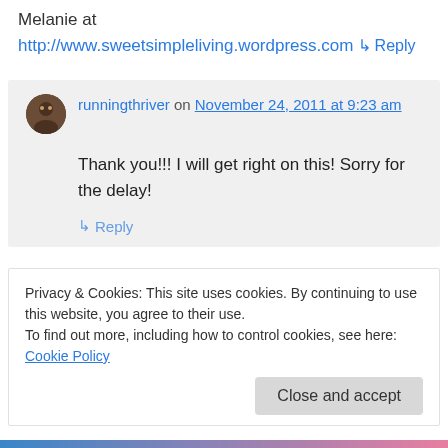Melanie at
http://www.sweetsimpleliving.wordpress.com
↳ Reply
runningthriver on November 24, 2011 at 9:23 am
Thank you!!! I will get right on this! Sorry for the delay!
↳ Reply
Privacy & Cookies: This site uses cookies. By continuing to use this website, you agree to their use.
To find out more, including how to control cookies, see here: Cookie Policy
Close and accept